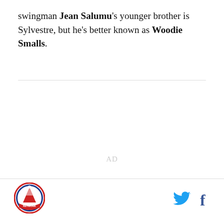swingman Jean Salumu's younger brother is Sylvestre, but he's better known as Woodie Smalls.
[Figure (logo): Sports team circular logo with red/blue colors, mountain and figure imagery]